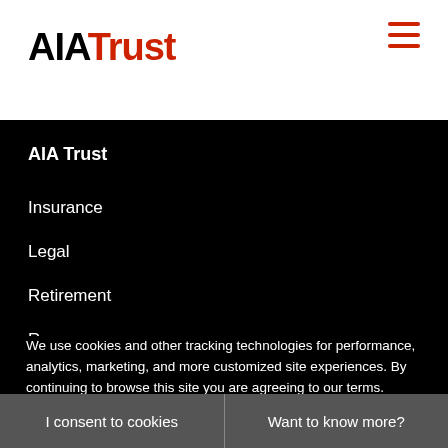AIA Trust
AIA Trust
Insurance
Legal
Retirement
Resources
Contact
About
We use cookies and other tracking technologies for performance, analytics, marketing, and more customized site experiences. By continuing to browse this site you are agreeing to our terms. Learn more about these in our Privacy Policy . AIA reserves the right to delete content and suspend user accounts that it determines to be inappropriate.
I consent to cookies
Want to know more?